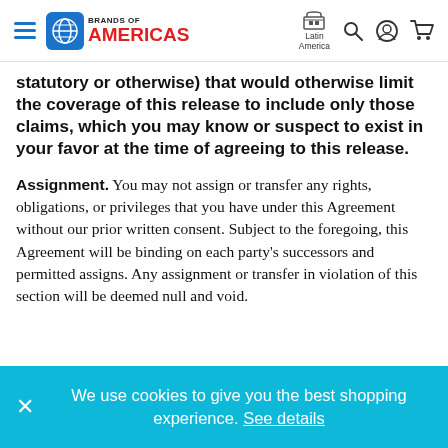Brands of Americas — Latin America navigation header
statutory or otherwise) that would otherwise limit the coverage of this release to include only those claims, which you may know or suspect to exist in your favor at the time of agreeing to this release.
Assignment.
You may not assign or transfer any rights, obligations, or privileges that you have under this Agreement without our prior written consent. Subject to the foregoing, this Agreement will be binding on each party's successors and permitted assigns. Any assignment or transfer in violation of this section will be deemed null and void.
We use cookies to give you the best shopping experience. See details